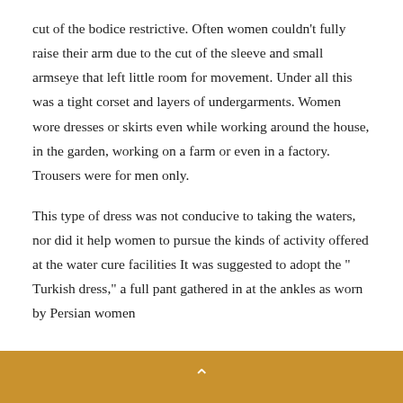cut of the bodice restrictive. Often women couldn't fully raise their arm due to the cut of the sleeve and small armseye that left little room for movement. Under all this was a tight corset and layers of undergarments. Women wore dresses or skirts even while working around the house, in the garden, working on a farm or even in a factory. Trousers were for men only.

This type of dress was not conducive to taking the waters, nor did it help women to pursue the kinds of activity offered at the water cure facilities It was suggested to adopt the " Turkish dress," a full pant gathered in at the ankles as worn by Persian women
^